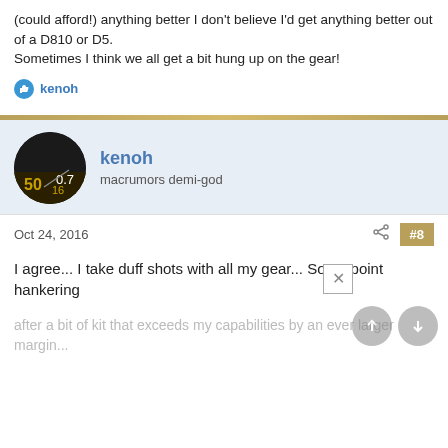(could afford!) anything better I don't believe I'd get anything better out of a D810 or D5.
Sometimes I think we all get a bit hung up on the gear!
kenoh
kenoh
macrumors demi-god
Oct 24, 2016
#8
I agree... I take duff shots with all my gear... So no point hankering after a bit of kit that exceeds my capabilities by an ever larger margin...